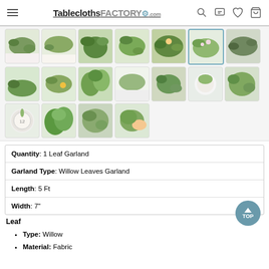TableclothsFACTORY.com
[Figure (photo): Grid of product thumbnail images showing various leaf garland arrangements on tables and decorations. 17 thumbnails in 3 rows.]
| Quantity: 1 Leaf Garland |
| Garland Type: Willow Leaves Garland |
| Length: 5 Ft |
| Width: 7" |
Leaf
Type: Willow
Material: Fabric